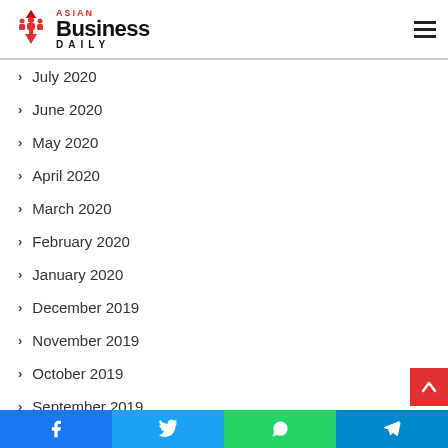Asian Business Daily
July 2020
June 2020
May 2020
April 2020
March 2020
February 2020
January 2020
December 2019
November 2019
October 2019
September 2019
Facebook | Twitter | WhatsApp | Telegram